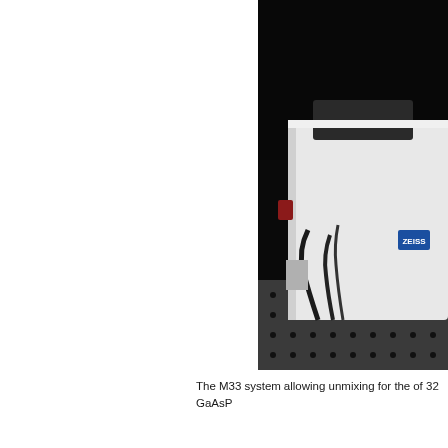[Figure (photo): Laboratory photograph showing a white scientific instrument (Zeiss microscope/spectrometer system) on an optical bench with a perforated black surface. Various cables and connectors are visible. The background is dark/black.]
The M33 system allowing unmixing for t of 32 GaAsP